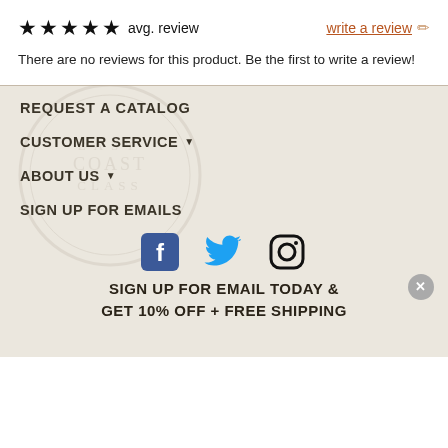★★★★★ avg. review   write a review ✏
There are no reviews for this product. Be the first to write a review!
REQUEST A CATALOG
CUSTOMER SERVICE ▼
ABOUT US ▼
SIGN UP FOR EMAILS
[Figure (illustration): Social media icons: Facebook, Twitter, Instagram]
SIGN UP FOR EMAIL TODAY & GET 10% OFF + FREE SHIPPING